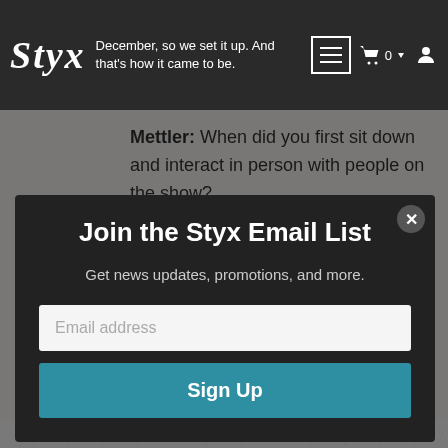December, so we set it up. And that's how it came to be.
Mettler: When did you first sit down and interact in person with people on the show?
Sucherman: I got in town on a
Join the Styx Email List
Get news updates, promotions, and more.
Email address
Sign Up